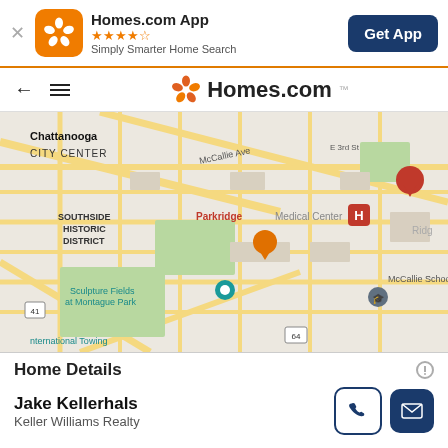[Figure (screenshot): App banner for Homes.com App with orange icon, star rating, tagline 'Simply Smarter Home Search', and 'Get App' button]
[Figure (screenshot): Navigation bar with back arrow, hamburger menu, and Homes.com logo]
[Figure (map): Map of Chattanooga area showing Southside Historic District, Parkridge Medical Center, Sculpture Fields at Montague Park, McCallie School, and International Towing. Orange property pin marker visible.]
Jake Kellerhals
Keller Williams Realty